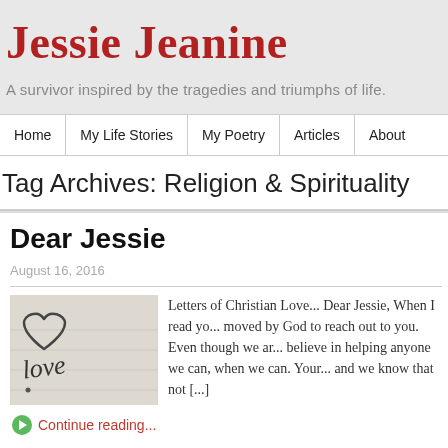Jessie Jeanine
A survivor inspired by the tragedies and triumphs of life.
Home | My Life Stories | My Poetry | Articles | About
Tag Archives: Religion & Spirituality
Dear Jessie
August 16, 2016
[Figure (photo): Handwritten word 'love' on paper]
Letters of Christian Love... Dear Jessie, When I read yo... moved by God to reach out to you. Even though we ar... believe in helping anyone we can, when we can. Your... and we know that not [...]
Continue reading...